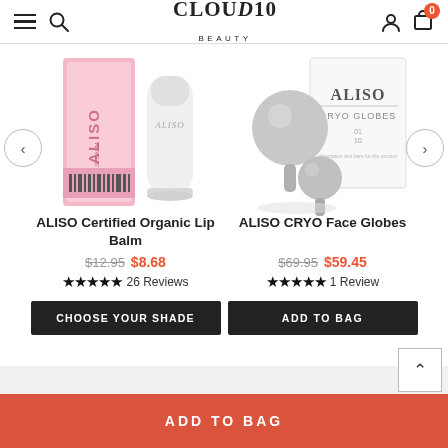Cloud 10 Beauty — navigation header with menu, search, logo, user account, cart (0)
[Figure (photo): ALISO Certified Organic Lip Balm product image — pink box and white tube]
[Figure (photo): ALISO CRYO Face Globes product image — silver face globes with white box]
ALISO Certified Organic Lip Balm
ALISO CRYO Face Globes
$12.95  $8.68  ★★★★★ 26 Reviews
$69.95  $59.45  ★★★★★ 1 Review
CHOOSE YOUR SHADE
ADD TO BAG
ADD TO BAG